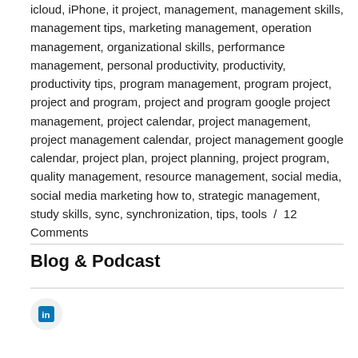icloud, iPhone, it project, management, management skills, management tips, marketing management, operation management, organizational skills, performance management, personal productivity, productivity, productivity tips, program management, program project, project and program, project and program google project management, project calendar, project management, project management calendar, project management google calendar, project plan, project planning, project program, quality management, resource management, social media, social media marketing how to, strategic management, study skills, sync, synchronization, tips, tools / 12 Comments
Blog & Podcast
[Figure (logo): LinkedIn icon in a light gray circle]